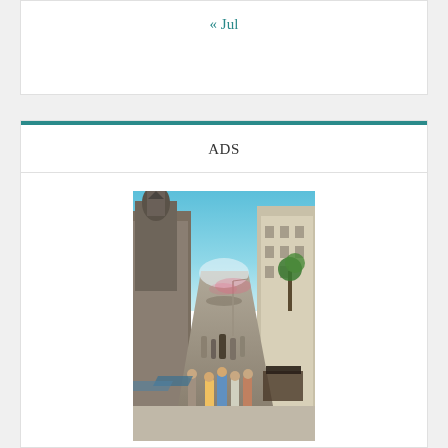« Jul
ADS
[Figure (photo): A busy pedestrian street lined with historic European buildings on both sides, people walking away from the camera down the street, blue sky overhead, outdoor seating areas visible.]